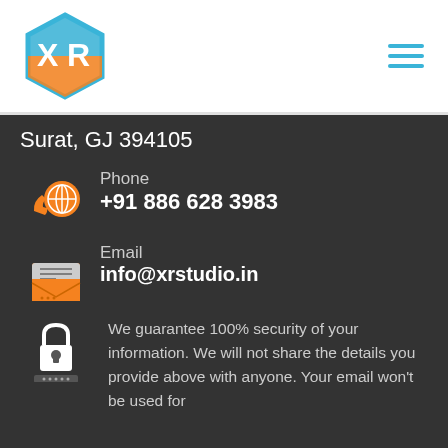[Figure (logo): XR Studio hexagonal logo with orange and blue colors, letters X and R inside]
[Figure (other): Hamburger menu icon with three horizontal teal/blue lines]
Surat, GJ 394105
[Figure (other): Orange phone with globe icon]
Phone
+91 886 628 3983
[Figure (other): Orange envelope/email icon]
Email
info@xrstudio.in
[Figure (other): White padlock/security icon]
We guarantee 100% security of your information. We will not share the details you provide above with anyone. Your email won't be used for